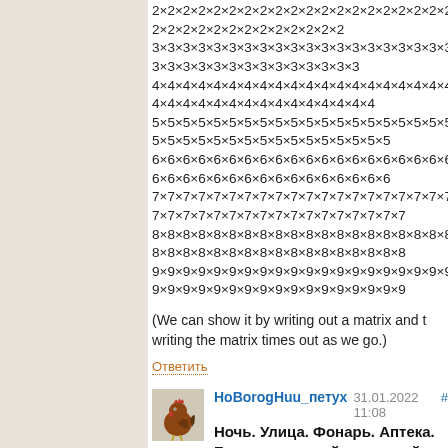2×2×2×2×2×2×2×2×2×2×2×2×2×2×2×2×2×2× [continues] / 2×2×2×2×2×2×2×2×2×2×2×2×2 / 3×3×3×3×3×3×3×3×3×3×3×3×3×3×3×3×3×3×3× [continues] / 3×3×3×3×3×3×3×3×3×3×3×3×3×3 / 4×4×4×4×4×4×4×4×4×4×4×4×4×4×4×4×4×4×4× [continues] / 4×4×4×4×4×4×4×4×4×4×4×4×4×4×4 / 5×5×5×5×5×5×5×5×5×5×5×5×5×5×5×5×5×5×5×5× [continues] / 5×5×5×5×5×5×5×5×5×5×5×5×5×5×5×5 / 6×6×6×6×6×6×6×6×6×6×6×6×6×6×6×6×6×6×6×6× [continues] / 6×6×6×6×6×6×6×6×6×6×6×6×6×6×6×6 / 7×7×7×7×7×7×7×7×7×7×7×7×7×7×7×7×7×7×7×7×7× [continues] / 7×7×7×7×7×7×7×7×7×7×7×7×7×7×7×7×7 / 8×8×8×8×8×8×8×8×8×8×8×8×8×8×8×8×8×8×8× [continues] / 8×8×8×8×8×8×8×8×8×8×8×8×8×8×8×8×8 / 9×9×9×9×9×9×9×9×9×9×9×9×9×9×9×9×9×9×9×9× [continues] / 9×9×9×9×9×9×9×9×9×9×9×9×9×9×9×9×9
(We can show it by writing out a matrix and taking writing the matrix times out as we go.)
Ответить
НоBorogHuu_netyx  31.01.2022 11:08  #
Ночь. Улица. Фонарь. Аптека. Бессмысленный и тусклый свет.